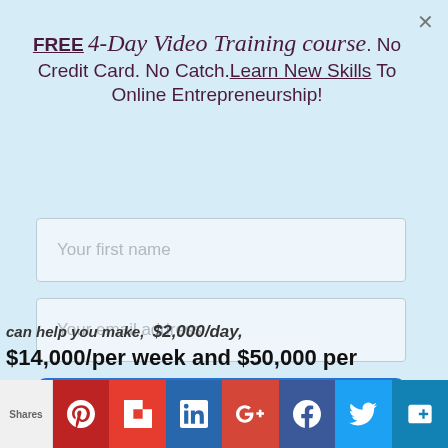FREE 4-Day Video Training course. No Credit Card. No Catch. Learn New Skills To Online Entrepreneurship!
[Figure (screenshot): A web modal popup with light blue background containing a headline, two input fields (first name, email), and a blue 'Send me the guide' button. Below the modal, partially visible text about making $2,000/day, $14,000/per week and $50,000 per... with a social share bar at the bottom.]
can help you make, $2,000/day, $14,000/per week and $50,000 per